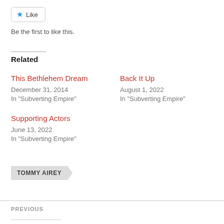[Figure (other): Like button with star icon]
Be the first to like this.
Related
This Bethlehem Dream
December 31, 2014
In "Subverting Empire"
Back It Up
August 1, 2022
In "Subverting Empire"
Supporting Actors
June 13, 2022
In "Subverting Empire"
TOMMY AIREY
PREVIOUS